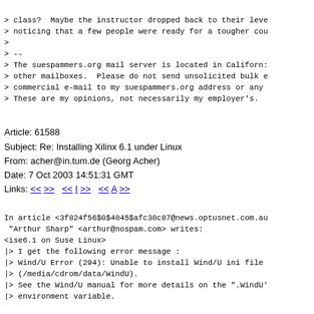> class?  Maybe the instructor dropped back to their leve
> noticing that a few people were ready for a tougher cou
>
> --
> The suespammers.org mail server is located in Californ:
> other mailboxes.  Please do not send unsolicited bulk e
> commercial e-mail to my suespammers.org address or any
> These are my opinions, not necessarily my employer's.
Article: 61588
Subject: Re: Installing Xilinx 6.1 under Linux
From: acher@in.tum.de (Georg Acher)
Date: 7 Oct 2003 14:51:31 GMT
Links: << >> << I >> << A >>
In article <3f824f56$0$4845$afc38c87@news.optusnet.com.au
 "Arthur Sharp" <arthur@nospam.com> writes:
<ise6.1 on Suse Linux>
|> I get the following error message :
|> Wind/U Error (294): Unable to install Wind/U ini file
|> (/media/cdrom/data/WindU).
|> See the Wind/U manual for more details on the ".WindU'
|> environment variable.

I have copied the whole CD to hard disk first and started
directory. It worked on Suse8.0. If you can find out whic
message (run the script with "sh -x setup"), you can add